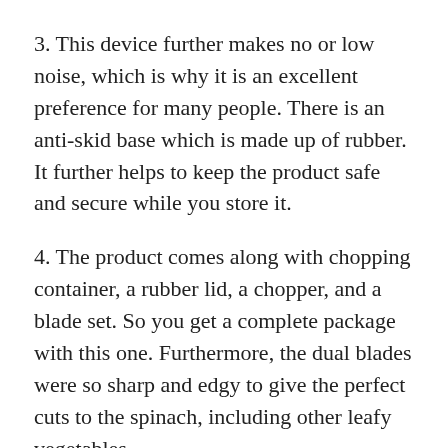3. This device further makes no or low noise, which is why it is an excellent preference for many people. There is an anti-skid base which is made up of rubber. It further helps to keep the product safe and secure while you store it.
4. The product comes along with chopping container, a rubber lid, a chopper, and a blade set. So you get a complete package with this one. Furthermore, the dual blades were so sharp and edgy to give the perfect cuts to the spinach, including other leafy vegetables.
5. What I like more is the design this chopper has. This is light in weight, which further makes it easily portable. I found it works comfortably well. The grip is quite sturdy and good. There is